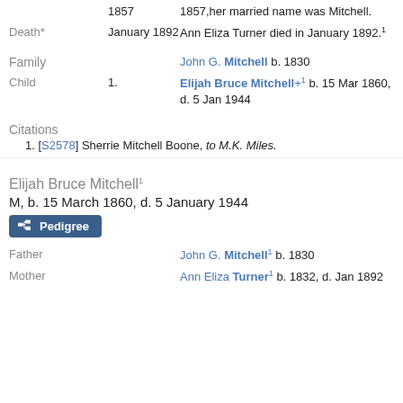1857 — 1857, her married name was Mitchell.
Death* — January 1892 — Ann Eliza Turner died in January 1892.[1]
Family — John G. Mitchell b. 1830
Child — 1. — Elijah Bruce Mitchell+ [1] b. 15 Mar 1860, d. 5 Jan 1944
Citations
1. [S2578] Sherrie Mitchell Boone, to M.K. Miles.
Elijah Bruce Mitchell[1]
M, b. 15 March 1860, d. 5 January 1944
Father — John G. Mitchell[1] b. 1830
Mother — Ann Eliza Turner[1] b. 1832, d. Jan 1892